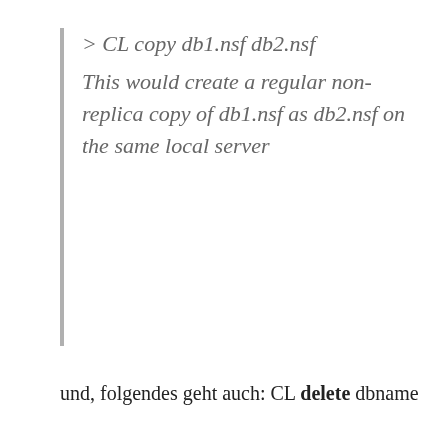> CL copy db1.nsf db2.nsf
This would create a regular non-replica copy of db1.nsf as db2.nsf on the same local server
und, folgendes geht auch: CL delete dbname
Friday, 23 March 2007  Martin Hipfinger  domino, d_tipps
wordpress upgrade
endlich habe ich zeit gefunden, um mein wordpress auf neuesten stand zu bekommen – bei der